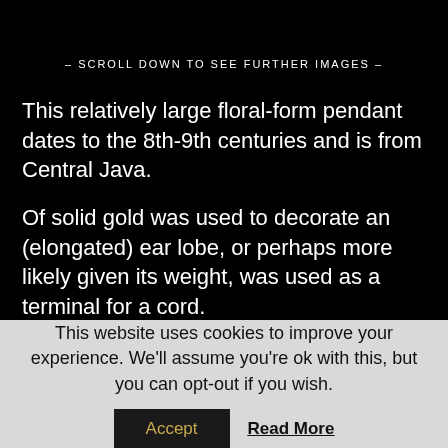– SCROLL DOWN TO SEE FURTHER IMAGES –
This relatively large floral-form pendant dates to the 8th-9th centuries and is from Central Java.
Of solid gold was used to decorate an (elongated) ear lobe, or perhaps more likely given its weight, was used as a terminal for a cord.
It is of unusual form, and few comparables have been published.
Large quantities of gold jewellery and other items have
This website uses cookies to improve your experience. We'll assume you're ok with this, but you can opt-out if you wish. Accept Read More